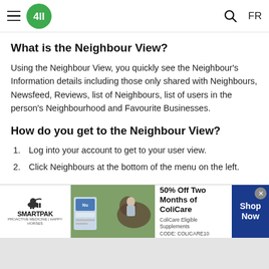4ll navigation bar with hamburger menu, logo, search and FR language toggle
What is the Neighbour View?
Using the Neighbour View, you quickly see the Neighbour's Information details including those only shared with Neighbours, Newsfeed, Reviews, list of Neighbours, list of users in the person's Neighbourhood and Favourite Businesses.
How do you get to the Neighbour View?
1. Log into your account to get to your user view.
2. Click Neighbours at the bottom of the menu on the left.
[Figure (infographic): SmartPak advertisement banner: 50% Off Two Months of ColiCare, ColiCare Eligible Supplements, CODE: COLICARE10, Shop Now button. Features horse and rider photo.]